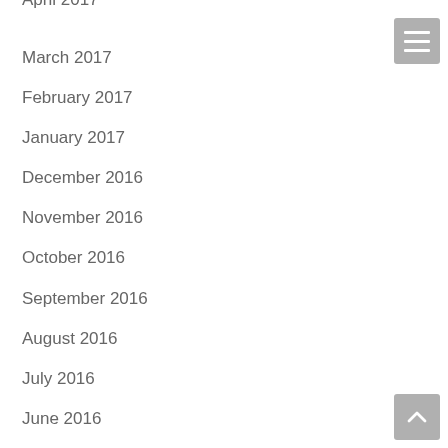April 2017
March 2017
February 2017
January 2017
December 2016
November 2016
October 2016
September 2016
August 2016
July 2016
June 2016
May 2016
March 2016